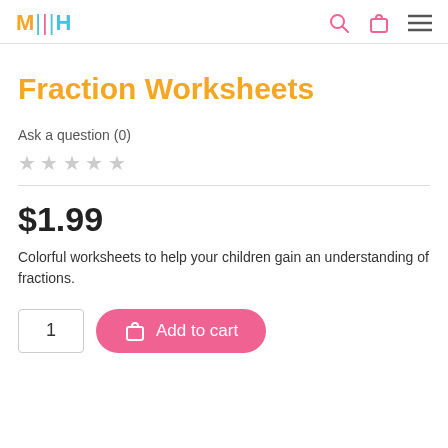MHH — navigation with search, bag, and menu icons
Fraction Worksheets
Ask a question (0)
[Figure (other): Five empty star rating icons]
$1.99
Colorful worksheets to help your children gain an understanding of fractions.
[Figure (other): Quantity input box showing 1 and Add to cart button with bag icon]